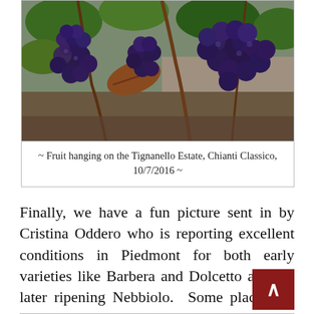[Figure (photo): Photograph of dark blue/purple grape clusters hanging on the vine with green leaves and branches, taken at the Tignanello Estate in Chianti Classico on 10/7/2016.]
~ Fruit hanging on the Tignanello Estate, Chianti Classico, 10/7/2016 ~
Finally, we have a fun picture sent in by Cristina Oddero who is reporting excellent conditions in Piedmont for both early varieties like Barbera and Dolcetto and the later ripening Nebbiolo. Some places are still harvesting in Piedmont so we will likely have more updates to come from there as well as Umbria, where Sagrantino producers are still working.